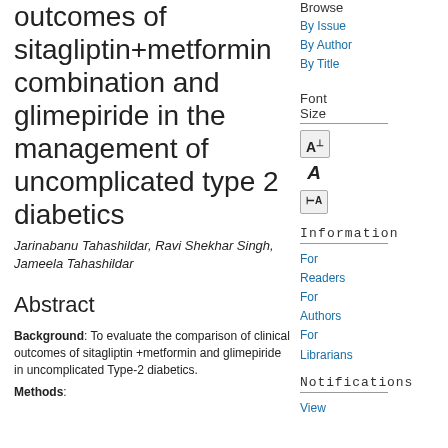outcomes of sitagliptin+metformin combination and glimepiride in the management of uncomplicated type 2 diabetics
Jarinabanu Tahashildar, Ravi Shekhar Singh, Jameela Tahashildar
Abstract
Background: To evaluate the comparison of clinical outcomes of sitagliptin +metformin and glimepiride in uncomplicated Type-2 diabetics.
Browse
By Issue
By Author
By Title
Font Size
[Figure (other): Font size buttons: large A with border, large italic A, small A with border]
Information
For Readers
For Authors
For Librarians
Notifications
View